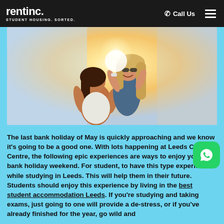rentinc. STUDENT HOUSING. SORTED. | Call Us
[Figure (photo): Two young women laughing outdoors with sunlight shining behind them, one giving the other a piggyback ride]
The last bank holiday of May is quickly approaching and we know it's going to be a good one. With lots happening at Leeds City Centre, the following epic experiences are ways to enjoy your bank holiday weekend. For students, to have this type experience while studying in Leeds. This will help them in their future. Students should enjoy this experience by living in the best student accommodation Leeds. If you're studying and taking exams, just going to one will provide a de-stress, or if you've already finished for the year, go wild and